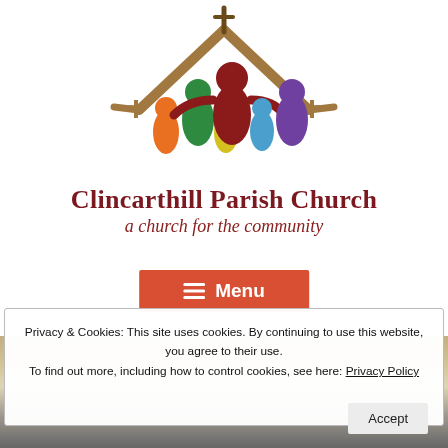[Figure (logo): Clincarthill Parish Church logo: stylized figures of adults and children under a church roof with cross, in rainbow colors (orange, green, yellow, dark red, blue, purple), with brown crossed beams forming a church roof with a cross on top and small crosses on each side.]
Clincarthill Parish Church
a church for the community
Menu
Privacy & Cookies: This site uses cookies. By continuing to use this website, you agree to their use.
To find out more, including how to control cookies, see here: Privacy Policy
Accept
[Figure (photo): Partial bottom photo showing a beige/tan and grey textured background, partially obscured by the cookie banner overlay.]